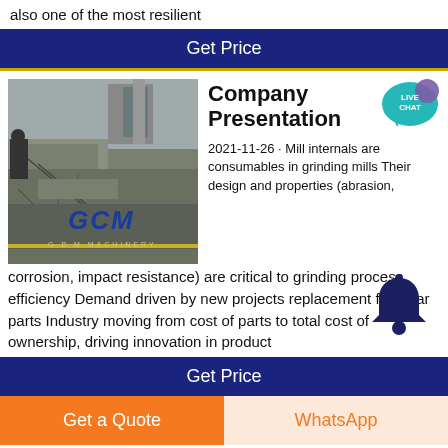also one of the most resilient
Get Price
[Figure (photo): Construction site/industrial machinery photo with GCM Machinery logo overlay]
Company Presentation
2021-11-26 · Mill internals are consumables in grinding mills Their design and properties (abrasion, corrosion, impact resistance) are critical to grinding process efficiency Demand driven by new projects replacement for wear parts Industry moving from cost of parts to total cost of ownership, driving innovation in product
Get Price
Get a Quote
WhatsApp